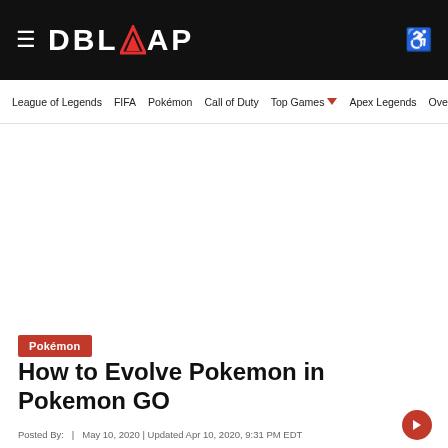DBLTAP
League of Legends  FIFA  Pokémon  Call of Duty  Top Games  Apex Legends  Overwatch
Pokémon
How to Evolve Pokemon in Pokemon GO
Posted By: ... Updated Apr 10, 2020, 9:31 PM EDT